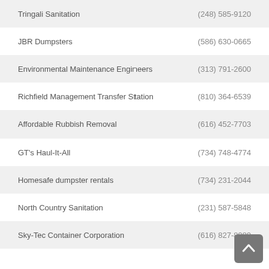Tringali Sanitation | (248) 585-9120
JBR Dumpsters | (586) 630-0665
Environmental Maintenance Engineers | (313) 791-2600
Richfield Management Transfer Station | (810) 364-6539
Affordable Rubbish Removal | (616) 452-7703
GT's Haul-It-All | (734) 748-4774
Homesafe dumpster rentals | (734) 231-2044
North Country Sanitation | (231) 587-5848
Sky-Tec Container Corporation | (616) 827-8989